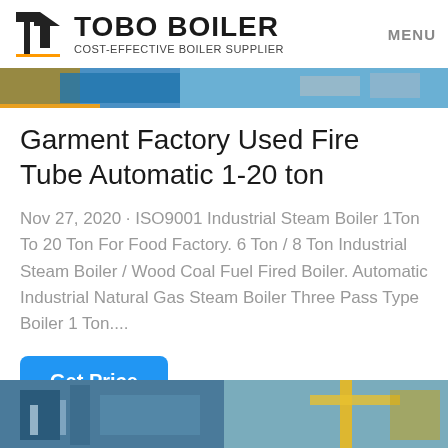TOBO BOILER COST-EFFECTIVE BOILER SUPPLIER | MENU
[Figure (photo): Partial view of industrial boiler equipment in blue tones]
Garment Factory Used Fire Tube Automatic 1-20 ton
Nov 27, 2020 · ISO9001 Industrial Steam Boiler 1Ton To 20 Ton For Food Factory. 6 Ton / 8 Ton Industrial Steam Boiler / Wood Coal Fuel Fired Boiler. Automatic Industrial Natural Gas Steam Boiler Three Pass Type Boiler 1 Ton....
Get Price
WhatsApp
[Figure (photo): Industrial boiler factory interior with blue and yellow equipment]